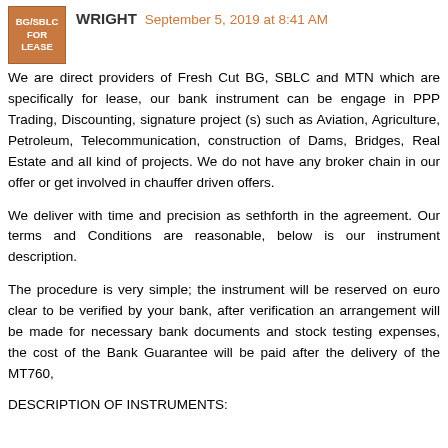[Figure (logo): Brown square logo with text BG/SBLC FOR LEASE in white]
WRIGHT  September 5, 2019 at 8:41 AM
We are direct providers of Fresh Cut BG, SBLC and MTN which are specifically for lease, our bank instrument can be engage in PPP Trading, Discounting, signature project (s) such as Aviation, Agriculture, Petroleum, Telecommunication, construction of Dams, Bridges, Real Estate and all kind of projects. We do not have any broker chain in our offer or get involved in chauffer driven offers.
We deliver with time and precision as sethforth in the agreement. Our terms and Conditions are reasonable, below is our instrument description.
The procedure is very simple; the instrument will be reserved on euro clear to be verified by your bank, after verification an arrangement will be made for necessary bank documents and stock testing expenses, the cost of the Bank Guarantee will be paid after the delivery of the MT760,
DESCRIPTION OF INSTRUMENTS: